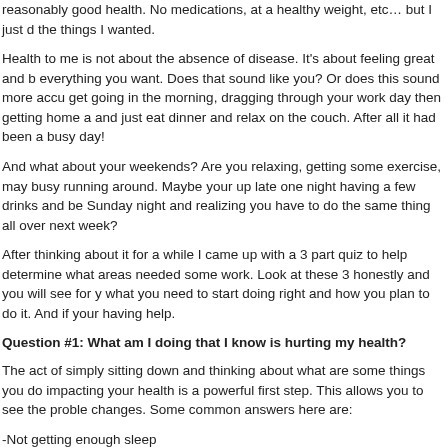reasonably good health. No medications, at a healthy weight, etc… but I just do the things I wanted.
Health to me is not about the absence of disease. It's about feeling great and being able to do everything you want. Does that sound like you? Or does this sound more accurate: struggling to get going in the morning, dragging through your work day then getting home and just wanting to and just eat dinner and relax on the couch. After all it had been a busy day!
And what about your weekends? Are you relaxing, getting some exercise, maybe? Or are you busy running around. Maybe your up late one night having a few drinks and being overtired by Sunday night and realizing you have to do the same thing all over next week?
After thinking about it for a while I came up with a 3 part quiz to help determine for yourself what areas needed some work. Look at these 3 honestly and you will see for yourself exactly what you need to start doing right and how you plan to do it. And if your having trouble I can help.
Question #1: What am I doing that I know is hurting my health?
The act of simply sitting down and thinking about what are some things you do that you know is impacting your health is a powerful first step. This allows you to see the problems and make changes. Some common answers here are:
-Not getting enough sleep
-relying to heavily on caffeine and other stimulants to get going in the morning
-Drinking too much alcohol